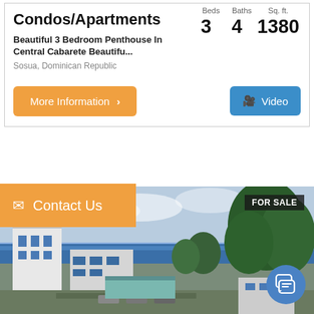Condos/Apartments
Beautiful 3 Bedroom Penthouse In Central Cabarete Beautifu...
Sosua, Dominican Republic
Beds 3   Baths 4   Sq. ft. 1380
More Information
Video
Contact Us
FOR SALE
[Figure (photo): Aerial or rooftop view of buildings near ocean in Cabarete, Dominican Republic, with trees and blue sky]